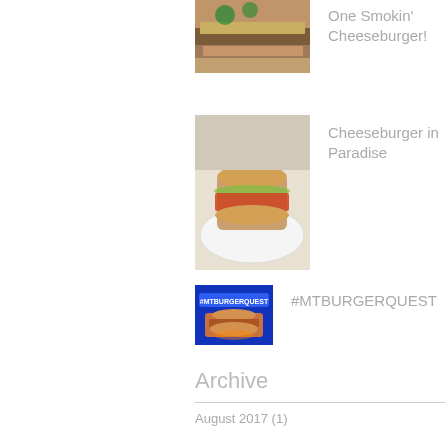[Figure (photo): Partial view of a cheeseburger photo at top of page]
One Smokin' Cheeseburger!
[Figure (photo): Photo of a sandwich/cheeseburger on a white plate]
Cheeseburger in Paradise
[Figure (photo): Small thumbnail with blue background and text #MTBURGERQUEST]
#MTBURGERQUEST
Archive
August 2017 (1)